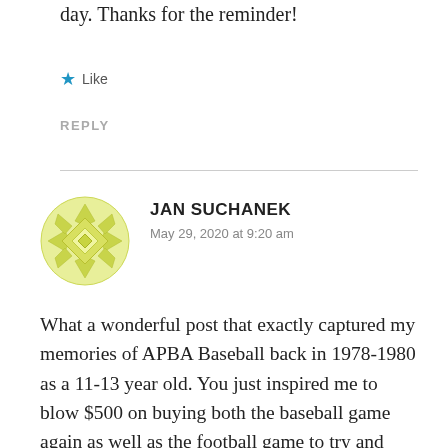day. Thanks for the reminder!
★ Like
REPLY
[Figure (illustration): Circular decorative avatar with yellow/green geometric diamond pattern, used as commenter profile image for Jan Suchanek]
JAN SUCHANEK
May 29, 2020 at 9:20 am
What a wonderful post that exactly captured my memories of APBA Baseball back in 1978-1980 as a 11-13 year old. You just inspired me to blow $500 on buying both the baseball game again as well as the football game to try and recapture those feelings. I'm pretty sure I'm going to get addicted to collecting the player cards in the future. I still even